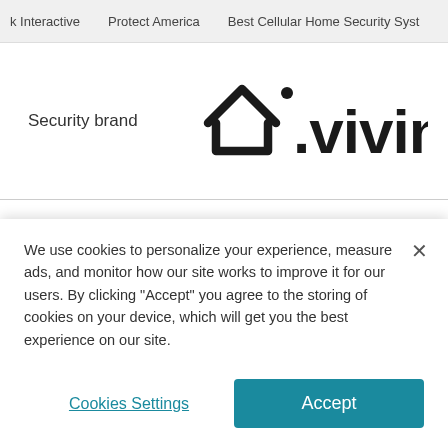k Interactive   Protect America   Best Cellular Home Security Syst
Security brand
[Figure (logo): Vivint logo: a house outline icon followed by the text '.vivint' in bold dark letters]
Recommendation   Best for home automation
We use cookies to personalize your experience, measure ads, and monitor how our site works to improve it for our users. By clicking "Accept" you agree to the storing of cookies on your device, which will get you the best experience on our site.
Cookies Settings
Accept